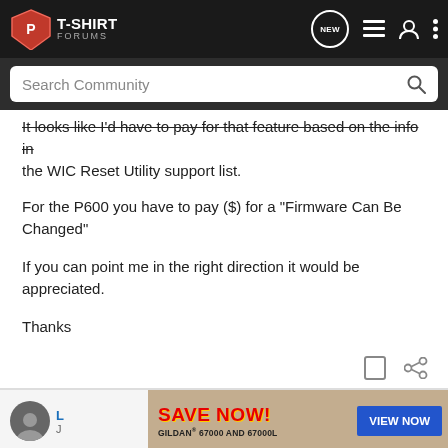T-SHIRT FORUMS
It looks like I'd have to pay for that feature based on the info in the WIC Reset Utility support list.
For the P600 you have to pay ($) for a "Firmware Can Be Changed"
If you can point me in the right direction it would be appreciated.
Thanks
[Figure (screenshot): Advertisement banner: SAVE NOW! GILDAN 67000 AND 67000L with VIEW NOW button]